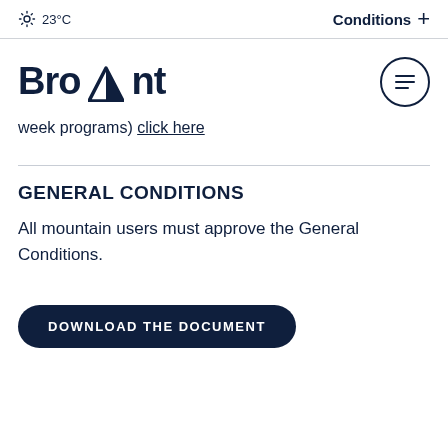23°C   Conditions +
Bromont
week programs) click here
GENERAL CONDITIONS
All mountain users must approve the General Conditions.
DOWNLOAD THE DOCUMENT